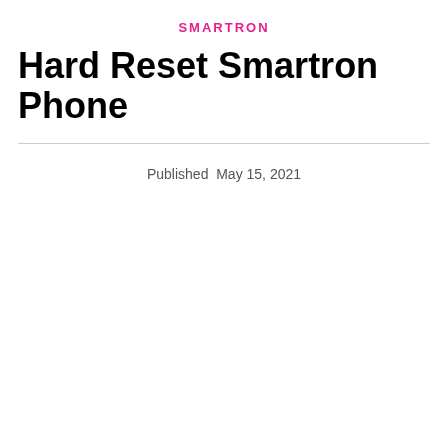SMARTRON
Hard Reset Smartron Phone
Published  May 15, 2021